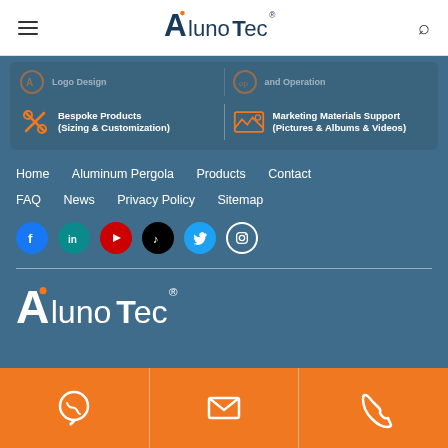AlunoTec header navigation bar with hamburger menu and search icon
[Figure (infographic): Feature icons strip showing: Logo Design (partially visible at top), and Operation (partially visible at top), Bespoke Products (Sizing & Customization) with scissors/tools icon in orange, Marketing Materials Support (Pictures & Albums & Videos) with gallery icon in orange, all on blue-grey background card]
Home
Aluminum Pergola
Products
Contact
FAQ
News
Privacy Policy
Sitemap
[Figure (infographic): Social media icons row: Facebook (blue circle), LinkedIn (teal circle), YouTube (red circle), TikTok (black circle), Twitter (light blue circle), Instagram (white outline circle)]
[Figure (logo): AlunoTec white logo on blue-grey background]
[Figure (infographic): Orange bottom bar with three cells: WhatsApp icon (chat bubble with phone), Email icon (envelope), Phone icon]